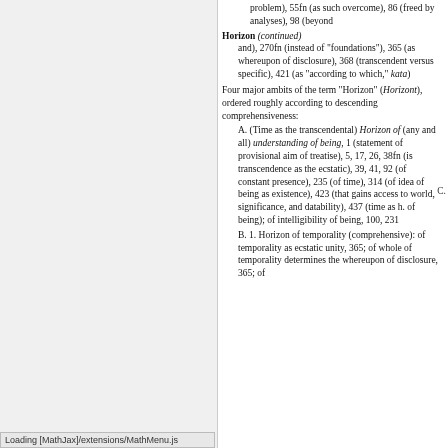problem), 55fn (as such overcome), 86 (freed by analyses), 98 (beyond
Horizon (continued) and), 270fn (instead of "foundations"), 365 (as whereupon of disclosure), 368 (transcendent versus specific), 421 (as "according to which," kata)
Four major ambits of the term "Horizon" (Horizont), ordered roughly according to descending comprehensiveness:
A. (Time as the transcendental) Horizon of (any and all) understanding of being, 1 (statement of provisional aim of treatise), 5, 17, 26, 38fn (is transcendence as the ecstatic), 39, 41, 92 (of constant presence), 235 (of time), 314 (of idea of being as existence), 423 (that gains access to world, significance, and datability), 437 (time as h. of being); of intelligibility of being, 100, 231
B. 1. Horizon of temporality (comprehensive): of temporality as ecstatic unity, 365; of whole of temporality determines the whereupon of disclosure, 365; of
Loading [MathJax]/extensions/MathMenu.js